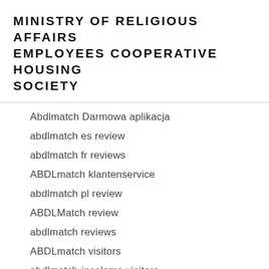MINISTRY OF RELIGIOUS AFFAIRS EMPLOYEES COOPERATIVE HOUSING SOCIETY
Abdlmatch Darmowa aplikacja
abdlmatch es review
abdlmatch fr reviews
ABDLmatch klantenservice
abdlmatch pl review
ABDLMatch review
abdlmatch reviews
ABDLmatch visitors
abdlmatch-inceleme visitors